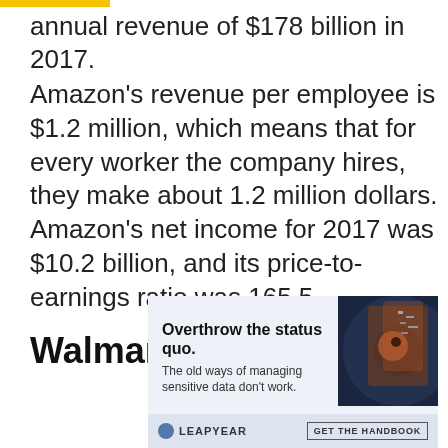annual revenue of $178 billion in 2017.
Amazon's revenue per employee is $1.2 million, which means that for every worker the company hires, they make about 1.2 million dollars. Amazon's net income for 2017 was $10.2 billion, and its price-to-earnings ratio was 165.5.
Walmart
[Figure (screenshot): Advertisement banner for Leapyear with headline 'Overthrow the status quo.' and subtext 'The old ways of managing sensitive data don't work.' with a GET THE HANDBOOK call to action button.]